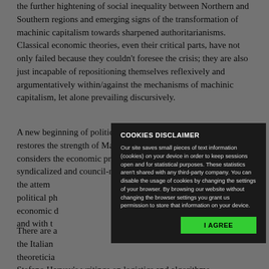the further hightening of social inequality between Northern and Southern regions and emerging signs of the transformation of machinic capitalism towards sharpened authoritarianisms. Classical economic theories, even their critical parts, have not only failed because they couldn't foresee the crisis; they are also just incapable of repositioning themselves reflexively and argumentatively within/against the mechanisms of machinic capitalism, let alone prevailing discursively.
A new beginning of political economy is required, one that restores the strength of Marxist theory and simultaneously considers the economic practice of historic-anarchistic, syndicalized and council-republican alternatives the attempt political ph economic d and with t
There are a the Italian theoreticia Stefano Harvey's writings on logistics and algorithms.
[Figure (screenshot): Cookies disclaimer popup overlay with dark background. Title: COOKIES DISCLAIMER. Body text about cookies usage and browser settings. Green 'I AGREE' button at bottom right.]